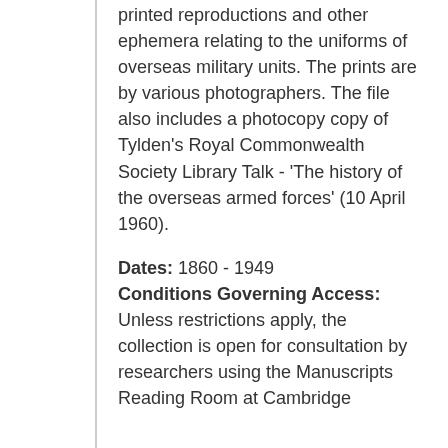printed reproductions and other ephemera relating to the uniforms of overseas military units. The prints are by various photographers. The file also includes a photocopy copy of Tylden's Royal Commonwealth Society Library Talk - 'The history of the overseas armed forces' (10 April 1960).
Dates: 1860 - 1949
Conditions Governing Access: Unless restrictions apply, the collection is open for consultation by researchers using the Manuscripts Reading Room at Cambridge